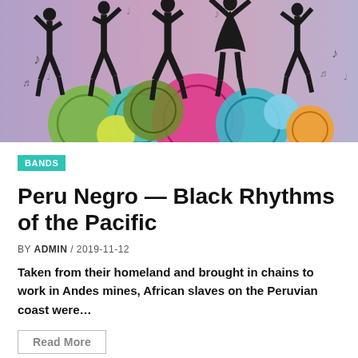[Figure (illustration): Colorful illustration of dancing silhouettes against a purple-pink gradient background with musical notes and large colorful circles (vinyl records) in green, teal, yellow, pink, magenta, light blue, orange tones.]
BANDS
Peru Negro — Black Rhythms of the Pacific
BY ADMIN / 2019-11-12
Taken from their homeland and brought in chains to work in Andes mines, African slaves on the Peruvian coast were…
Read More